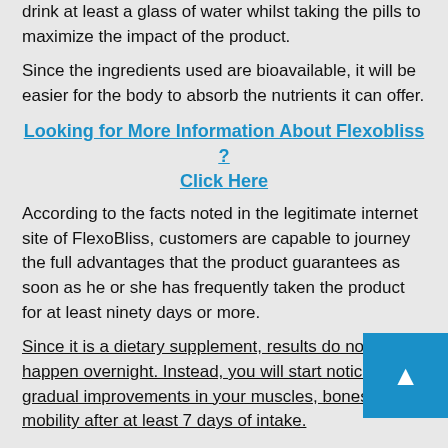drink at least a glass of water whilst taking the pills to maximize the impact of the product.
Since the ingredients used are bioavailable, it will be easier for the body to absorb the nutrients it can offer.
Looking for More Information About Flexobliss ? Click Here
According to the facts noted in the legitimate internet site of FlexoBliss, customers are capable to journey the full advantages that the product guarantees as soon as he or she has frequently taken the product for at least ninety days or more.
Since it is a dietary supplement, results do not happen overnight. Instead, you will start noticing gradual improvements in your muscles, bones and mobility after at least 7 days of intake.